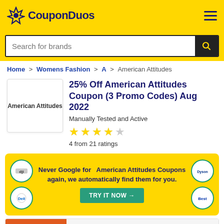CouponDuos
Search for brands
Home > Womens Fashion > A > American Attitudes
25% Off American Attitudes Coupon (3 Promo Codes) Aug 2022
Manually Tested and Active
4 from 21 ratings
Never Google for American Attitudes Coupons again, we automatically find them for you.
TRY IT NOW →
Coupons
Get 25% Off On Your Order At